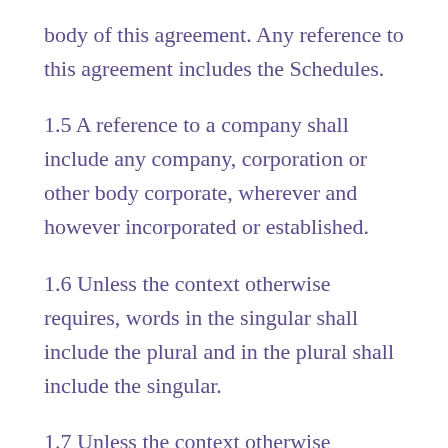body of this agreement. Any reference to this agreement includes the Schedules.
1.5 A reference to a company shall include any company, corporation or other body corporate, wherever and however incorporated or established.
1.6 Unless the context otherwise requires, words in the singular shall include the plural and in the plural shall include the singular.
1.7 Unless the context otherwise requires, a reference to one gender shall include a reference to the other genders.
1.8 This agreement shall be binding on, and for the benefit of, the parties to this agreement and